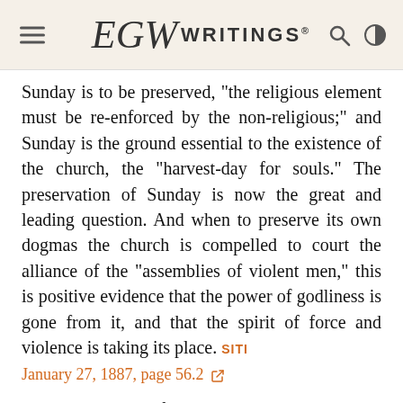EGW WRITINGS®
Sunday is to be preserved, "the religious element must be re-enforced by the non-religious;" and Sunday is the ground essential to the existence of the church, the "harvest-day for souls." The preservation of Sunday is now the great and leading question. And when to preserve its own dogmas the church is compelled to court the alliance of the "assemblies of violent men," this is positive evidence that the power of godliness is gone from it, and that the spirit of force and violence is taking its place. SITI
January 27, 1887, page 56.2
In the days of Noah, "The earth also was corrupt before God, and the earth was filled with violence." And "as the days of Noe were, so shall also the